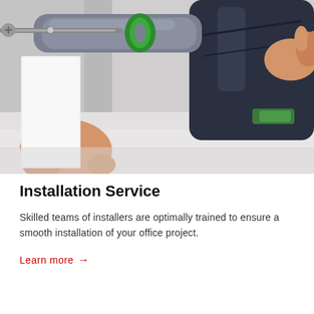[Figure (photo): Close-up photo of a hand holding a power drill (Festool brand, dark blue/black with green accents) being used to drill into a white surface. Another hand steadies the material. The drill has a green rubber ring near the bit.]
Installation Service
Skilled teams of installers are optimally trained to ensure a smooth installation of your office project.
Learn more →